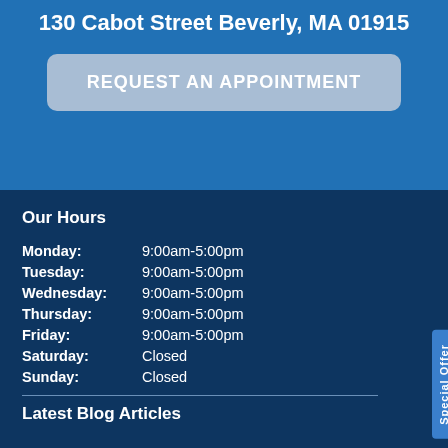130 Cabot Street Beverly, MA 01915
REQUEST AN APPOINTMENT
Our Hours
| Day | Hours |
| --- | --- |
| Monday: | 9:00am-5:00pm |
| Tuesday: | 9:00am-5:00pm |
| Wednesday: | 9:00am-5:00pm |
| Thursday: | 9:00am-5:00pm |
| Friday: | 9:00am-5:00pm |
| Saturday: | Closed |
| Sunday: | Closed |
Latest Blog Articles